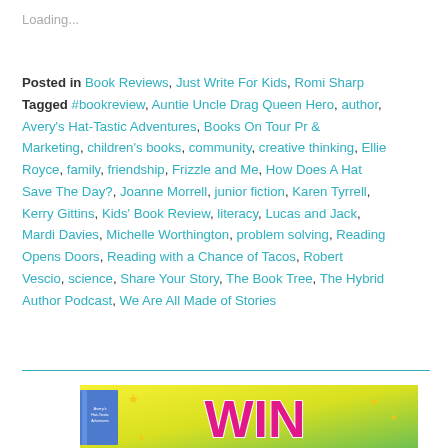Loading...
Posted in Book Reviews, Just Write For Kids, Romi Sharp Tagged #bookreview, Auntie Uncle Drag Queen Hero, author, Avery's Hat-Tastic Adventures, Books On Tour Pr & Marketing, children's books, community, creative thinking, Ellie Royce, family, friendship, Frizzle and Me, How Does A Hat Save The Day?, Joanne Morrell, junior fiction, Karen Tyrrell, Kerry Gittins, Kids' Book Review, literacy, Lucas and Jack, Mardi Davies, Michelle Worthington, problem solving, Reading Opens Doors, Reading with a Chance of Tacos, Robert Vescio, science, Share Your Story, The Book Tree, The Hybrid Author Podcast, We Are All Made of Stories
[Figure (illustration): Colorful WIN giveaway banner with yellow-green background, pink WIN text, stars, and a small book cover in the corner]